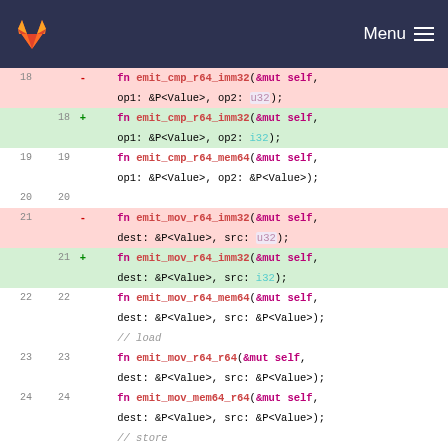GitLab — Menu
[Figure (screenshot): Code diff view showing Rust trait method signatures, lines 18-25, with removed lines (u32) highlighted in red and added lines (i32) highlighted in green.]